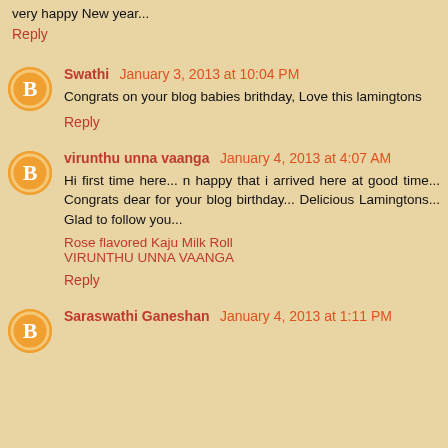very happy New year...
Reply
Swathi  January 3, 2013 at 10:04 PM
Congrats on your blog babies brithday, Love this lamingtons
Reply
virunthu unna vaanga  January 4, 2013 at 4:07 AM
Hi first time here... n happy that i arrived here at good time... Congrats dear for your blog birthday... Delicious Lamingtons... Glad to follow you...
Rose flavored Kaju Milk Roll
VIRUNTHU UNNA VAANGA
Reply
Saraswathi Ganeshan  January 4, 2013 at 1:11 PM